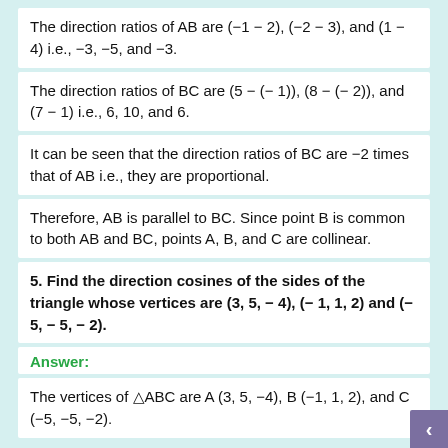The direction ratios of AB are (−1 − 2), (−2 − 3), and (1 − 4) i.e., −3, −5, and −3.
The direction ratios of BC are (5 − (− 1)), (8 − (− 2)), and (7 − 1) i.e., 6, 10, and 6.
It can be seen that the direction ratios of BC are −2 times that of AB i.e., they are proportional.
Therefore, AB is parallel to BC. Since point B is common to both AB and BC, points A, B, and C are collinear.
5. Find the direction cosines of the sides of the triangle whose vertices are (3, 5, − 4), (− 1, 1, 2) and (− 5, − 5, − 2).
Answer:
The vertices of △ABC are A (3, 5, −4), B (−1, 1, 2), and C (−5, −5, −2).